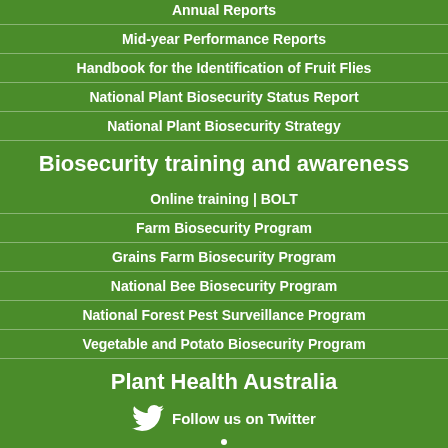Annual Reports
Mid-year Performance Reports
Handbook for the Identification of Fruit Flies
National Plant Biosecurity Status Report
National Plant Biosecurity Strategy
Biosecurity training and awareness
Online training | BOLT
Farm Biosecurity Program
Grains Farm Biosecurity Program
National Bee Biosecurity Program
National Forest Pest Surveillance Program
Vegetable and Potato Biosecurity Program
Plant Health Australia
Follow us on Twitter